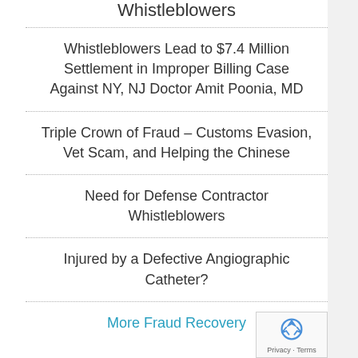Whistleblowers
Whistleblowers Lead to $7.4 Million Settlement in Improper Billing Case Against NY, NJ Doctor Amit Poonia, MD
Triple Crown of Fraud – Customs Evasion, Vet Scam, and Helping the Chinese
Need for Defense Contractor Whistleblowers
Injured by a Defective Angiographic Catheter?
More Fraud Recovery